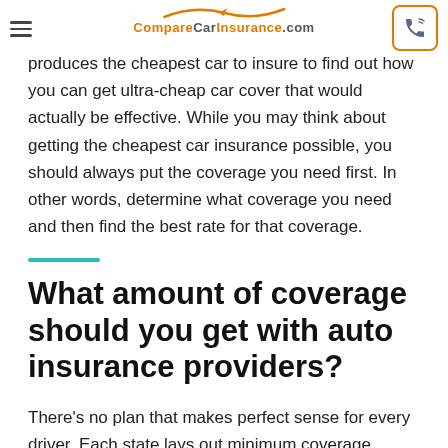Compare Car Insurance.com
produces the cheapest car to insure to find out how you can get ultra-cheap car cover that would actually be effective. While you may think about getting the cheapest car insurance possible, you should always put the coverage you need first. In other words, determine what coverage you need and then find the best rate for that coverage.
What amount of coverage should you get with auto insurance providers?
There's no plan that makes perfect sense for every driver. Each state lays out minimum coverage amounts. When